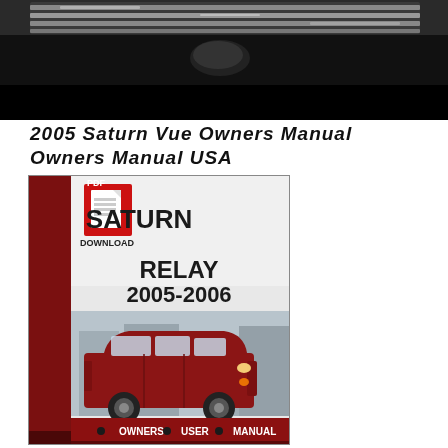[Figure (photo): Top banner image showing close-up of car parts/grille in dark tones with black bar at bottom]
2005 SATURN VUE OWNERS MANUAL OWNERS MANUAL USA
[Figure (photo): Saturn Relay 2005-2006 owners manual PDF cover page showing a dark red Saturn Relay minivan with PDF download icon, Saturn logo, and 'OWNERS USER MANUAL' footer on dark red/maroon background]